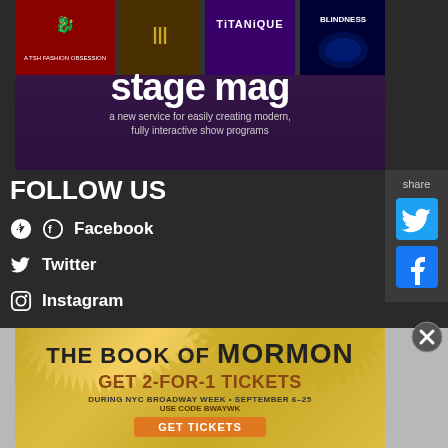[Figure (illustration): Stage Mag advertisement banner with show artwork thumbnails (including Titanique and Blindness) on a purple background, with large text 'stage mag' and subtitle 'a new service for easily creating modern, fully interactive show programs']
share
[Figure (logo): Twitter bird icon in cyan/blue]
[Figure (logo): Facebook icon in blue]
FOLLOW US
Facebook
Twitter
Instagram
[Figure (illustration): The Book of Mormon advertisement: 'GET 2-FOR-1 TICKETS DURING NYC BROADWAY WEEK • SEPTEMBER 6-25 USE CODE BWAYWK' with GET TICKETS button, gold starburst background]